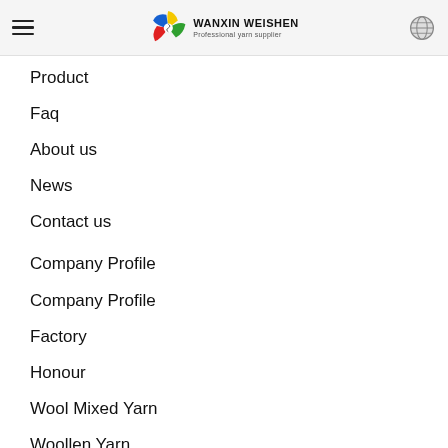WANXIN WEISHEN — Professional yarn supplier
Product
Faq
About us
News
Contact us
Company Profile
Company Profile
Factory
Honour
Wool Mixed Yarn
Woollen Yarn
Semi-Worsted Yarn
Angora Mixed Yarn
Polyester Film Fiber
Cashmere Yarn
Wool Mixed Yarn Polyester Film Fiber